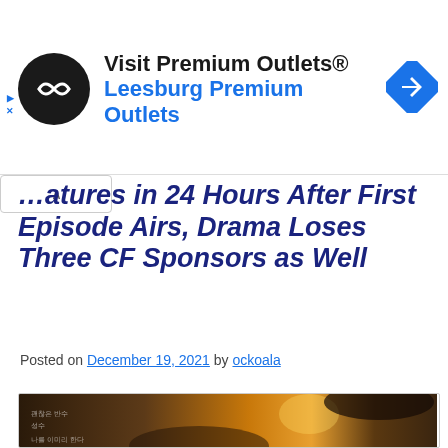[Figure (other): Advertisement banner for Visit Premium Outlets - Leesburg Premium Outlets with black circular logo and navigation icon]
…atures in 24 Hours After First Episode Airs, Drama Loses Three CF Sponsors as Well
Posted on December 19, 2021 by ockoala
[Figure (photo): Korean drama promotional image showing two people in close proximity, warm bokeh lighting, Korean text on left side]